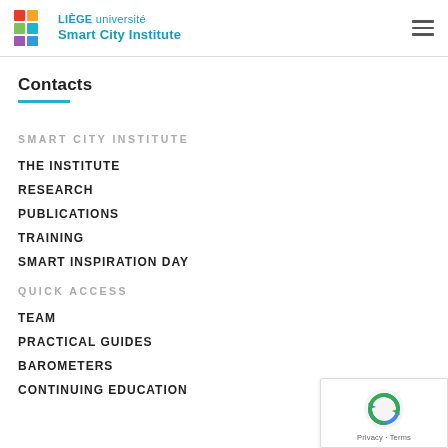LIÈGE université Smart City Institute
Contacts
SMART CITY INSTITUTE
THE INSTITUTE
RESEARCH
PUBLICATIONS
TRAINING
SMART INSPIRATION DAY
QUICK ACCESS
TEAM
PRACTICAL GUIDES
BAROMETERS
CONTINUING EDUCATION